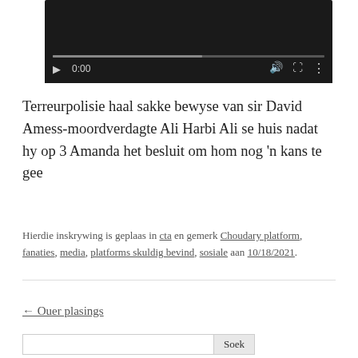[Figure (screenshot): Video player with dark background showing controls: play button, 0:00 time display, progress bar, volume icon, fullscreen icon, and settings icon.]
Terreurpolisie haal sakke bewyse van sir David Amess-moordverdagte Ali Harbi Ali se huis nadat hy op 3 Amanda het besluit om hom nog 'n kans te gee
Hierdie inskrywing is geplaas in cta en gemerk Choudary platform, fanaties, media, platforms skuldig bevind, sosiale aan 10/18/2021.
← Ouer plasings
Soek